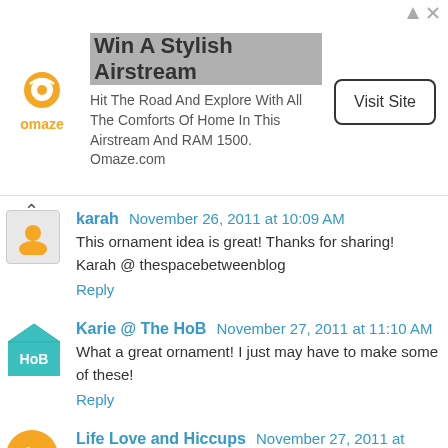[Figure (other): Advertisement banner: Omaze logo, 'Win A Stylish Airstream', body text, and 'Visit Site' button]
karah November 26, 2011 at 10:09 AM
This ornament idea is great! Thanks for sharing! Karah @ thespacebetweenblog
Reply
Karie @ The HoB November 27, 2011 at 11:10 AM
What a great ornament! I just may have to make some of these!
Reply
Life Love and Hiccups November 27, 2011 at 11:21 PM
What a gorgeous idea. I totally have to give this a try :) xx
Reply